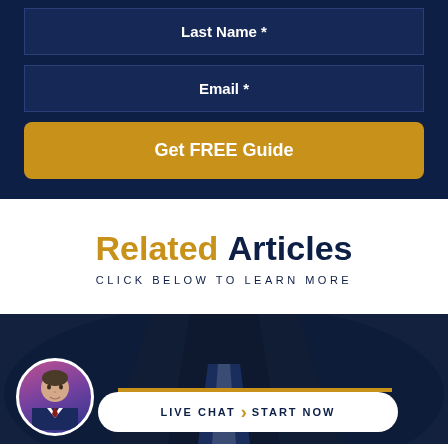Last Name *
Email *
Get FREE Guide
Related Articles
CLICK BELOW TO LEARN MORE
[Figure (screenshot): Article card with dark navy background, a gold horizontal bar, circular avatar photo of a man in a suit, and a white pill-shaped button reading LIVE CHAT › START NOW]
LIVE CHAT › START NOW